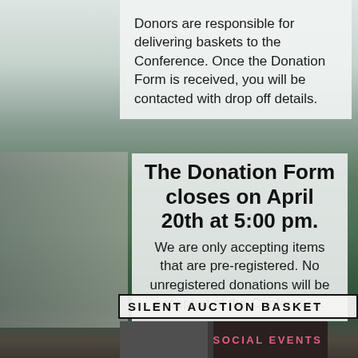Donors are responsible for delivering baskets to the Conference.  Once the Donation Form is received, you will be contacted with drop off details.
The Donation Form closes on April 20th at 5:00 pm.
We are only accepting items that are pre-registered. No unregistered donations will be accepted at the Conference.
SILENT AUCTION BASKET
SOCIAL EVENTS